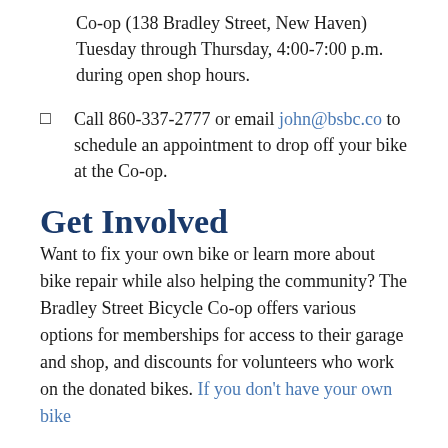Co-op (138 Bradley Street, New Haven) Tuesday through Thursday, 4:00-7:00 p.m. during open shop hours.
Call 860-337-2777 or email john@bsbc.co to schedule an appointment to drop off your bike at the Co-op.
Get Involved
Want to fix your own bike or learn more about bike repair while also helping the community? The Bradley Street Bicycle Co-op offers various options for memberships for access to their garage and shop, and discounts for volunteers who work on the donated bikes. If you don't have your own bike